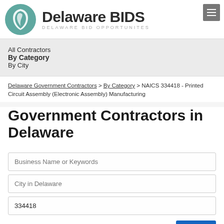[Figure (logo): Delaware BIDS logo with teal circular Delaware state silhouette icon and bold text 'Delaware BIDS' with subtitle 'DELAWARE BID OPPORTUNITES']
All Contractors
By Category
By City
Delaware Government Contractors > By Category > NAICS 334418 - Printed Circuit Assembly (Electronic Assembly) Manufacturing
Government Contractors in Delaware
Business Name or Keywords
City in Delaware
334418